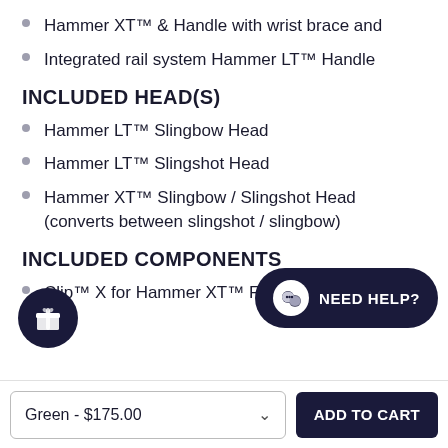Hammer XT™ & Handle with wrist brace and
Integrated rail system Hammer LT™ Handle
INCLUDED HEAD(S)
Hammer LT™ Slingbow Head
Hammer LT™ Slingshot Head
Hammer XT™ Slingbow / Slingshot Head (converts between slingshot / slingbow)
INCLUDED COMPONENTS
Clip™ X for Hammer XT™ Flatbands (7/16"steel)
Green - $175.00
ADD TO CART